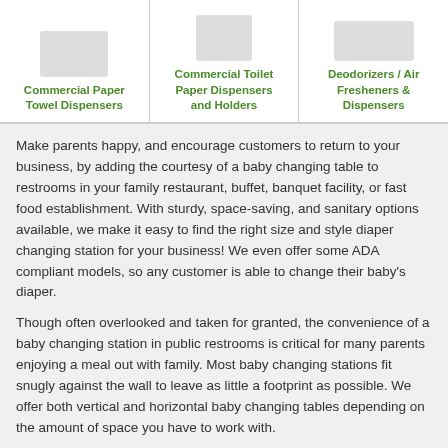| Commercial Paper Towel Dispensers | Commercial Toilet Paper Dispensers and Holders | Deodorizers / Air Fresheners & Dispensers |
| --- | --- | --- |
Make parents happy, and encourage customers to return to your business, by adding the courtesy of a baby changing table to restrooms in your family restaurant, buffet, banquet facility, or fast food establishment. With sturdy, space-saving, and sanitary options available, we make it easy to find the right size and style diaper changing station for your business! We even offer some ADA compliant models, so any customer is able to change their baby's diaper.
Though often overlooked and taken for granted, the convenience of a baby changing station in public restrooms is critical for many parents enjoying a meal out with family. Most baby changing stations fit snugly against the wall to leave as little a footprint as possible. We offer both vertical and horizontal baby changing tables depending on the amount of space you have to work with.
Whether you're remodeling a bathroom, building a new restaurant from scratch, or have had complaints and have decided to add a diaper changing